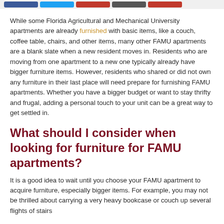[navigation buttons]
While some Florida Agricultural and Mechanical University apartments are already furnished with basic items, like a couch, coffee table, chairs, and other items, many other FAMU apartments are a blank slate when a new resident moves in. Residents who are moving from one apartment to a new one typically already have bigger furniture items. However, residents who shared or did not own any furniture in their last place will need prepare for furnishing FAMU apartments. Whether you have a bigger budget or want to stay thrifty and frugal, adding a personal touch to your unit can be a great way to get settled in.
What should I consider when looking for furniture for FAMU apartments?
It is a good idea to wait until you choose your FAMU apartment to acquire furniture, especially bigger items. For example, you may not be thrilled about carrying a very heavy bookcase or couch up several flights of stairs